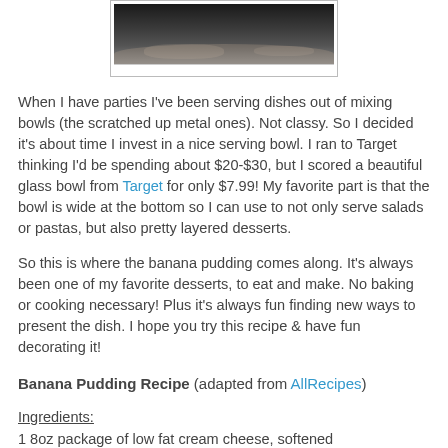[Figure (photo): Top portion of a photo showing a bowl or dish, dark background]
When I have parties I've been serving dishes out of mixing bowls (the scratched up metal ones). Not classy. So I decided it's about time I invest in a nice serving bowl. I ran to Target thinking I'd be spending about $20-$30, but I scored a beautiful glass bowl from Target for only $7.99! My favorite part is that the bowl is wide at the bottom so I can use to not only serve salads or pastas, but also pretty layered desserts.
So this is where the banana pudding comes along. It's always been one of my favorite desserts, to eat and make. No baking or cooking necessary! Plus it's always fun finding new ways to present the dish. I hope you try this recipe & have fun decorating it!
Banana Pudding Recipe (adapted from AllRecipes)
Ingredients:
1 8oz package of low fat cream cheese, softened
1 (5oz) package of instant vanilla pudding